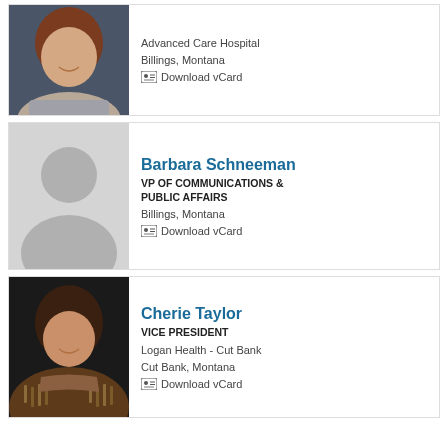[Figure (photo): Partial profile photo of a woman with reddish-brown hair, smiling, wearing a gray top]
Advanced Care Hospital
Billings, Montana
Download vCard
[Figure (photo): Gray placeholder silhouette avatar]
Barbara Schneeman
VP OF COMMUNICATIONS & PUBLIC AFFAIRS
Billings, Montana
Download vCard
[Figure (photo): Profile photo of Cherie Taylor, a woman with dark hair, smiling, wearing a brown fringed scarf]
Cherie Taylor
VICE PRESIDENT
Logan Health - Cut Bank
Cut Bank, Montana
Download vCard